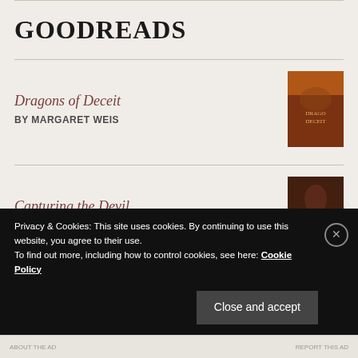GOODREADS
Dragons of Deceit BY MARGARET WEIS
Capturing the Devil BY KERRI MANISCALCO
Privacy & Cookies: This site uses cookies. By continuing to use this website, you agree to their use. To find out more, including how to control cookies, see here: Cookie Policy
Close and accept